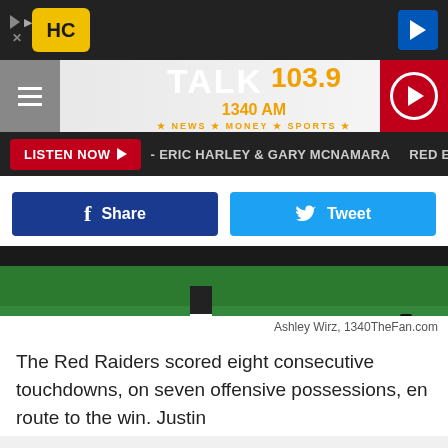[Figure (screenshot): Website screenshot showing TALK 103.9 / 1340 AM radio station page with navigation, social share buttons, a football field photo, and article text.]
Ashley Wirz, 1340TheFan.com
The Red Raiders scored eight consecutive touchdowns, on seven offensive possessions, en route to the win. Justin